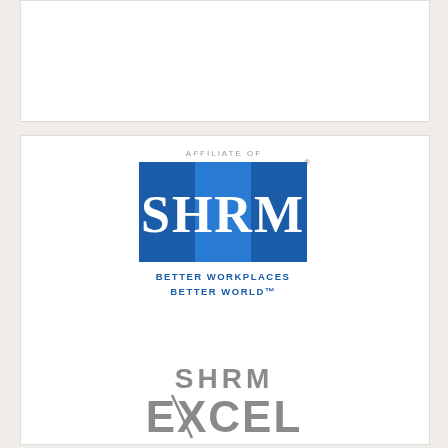[Figure (logo): SHRM Affiliate of logo with blue background and text 'BETTER WORKPLACES BETTER WORLD']
[Figure (logo): SHRM EXCEL 2020 award logo in grey text]
[Figure (logo): Partial circular badge showing '2022' in purple/maroon]